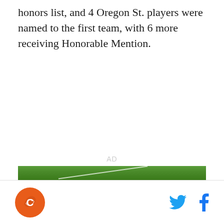honors list, and 4 Oregon St. players were named to the first team, with 6 more receiving Honorable Mention.
[Figure (other): AD placeholder label]
[Figure (photo): Green grass field with white line marking]
Oregon State Beavers logo, Twitter and Facebook social icons